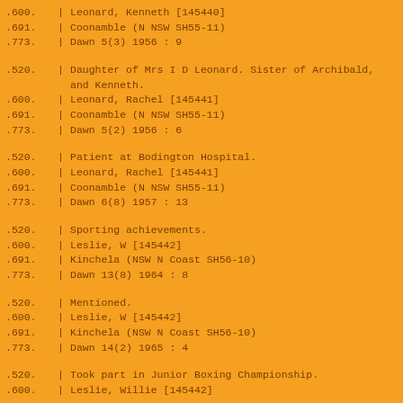.600. | Leonard, Kenneth [145440]
.691. | Coonamble (N NSW SH55-11)
.773. | Dawn 5(3) 1956 : 9
.520. | Daughter of Mrs I D Leonard. Sister of Archibald, and Kenneth.
.600. | Leonard, Rachel [145441]
.691. | Coonamble (N NSW SH55-11)
.773. | Dawn 5(2) 1956 : 6
.520. | Patient at Bodington Hospital.
.600. | Leonard, Rachel [145441]
.691. | Coonamble (N NSW SH55-11)
.773. | Dawn 6(8) 1957 : 13
.520. | Sporting achievements.
.600. | Leslie, W [145442]
.691. | Kinchela (NSW N Coast SH56-10)
.773. | Dawn 13(8) 1964 : 8
.520. | Mentioned.
.600. | Leslie, W [145442]
.691. | Kinchela (NSW N Coast SH56-10)
.773. | Dawn 14(2) 1965 : 4
.520. | Took part in Junior Boxing Championship.
.600. | Leslie, Willie [145442]